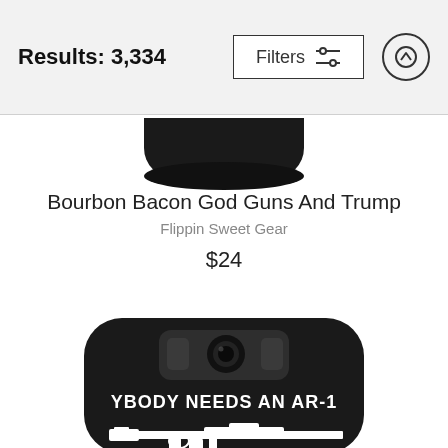Results: 3,334
Filters
[Figure (screenshot): Top portion of a phone case product image (cropped, showing only the bottom arc of a black phone case)]
Bourbon Bacon God Guns And Trump
Flippin Sweet Gear
$24
[Figure (photo): Black Samsung Galaxy S8 phone case with white text 'NOBODY NEEDS AN AR-1[5]' and an illustration of an AR-15 rifle]